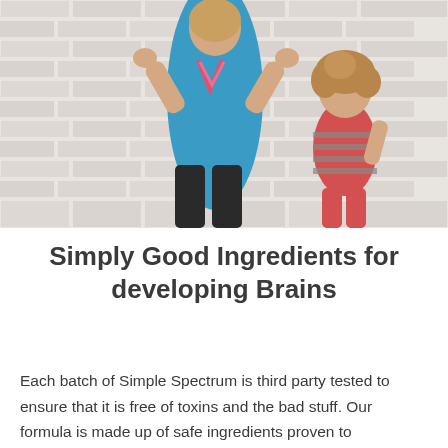[Figure (photo): A woman in a blue tank top and black leggings facing away from the camera with arms flexed, standing next to a small child with curly hair wearing a red and grey striped top, both facing a white brick wall.]
Simply Good Ingredients for developing Brains
Each batch of Simple Spectrum is third party tested to ensure that it is free of toxins and the bad stuff. Our formula is made up of safe ingredients proven to